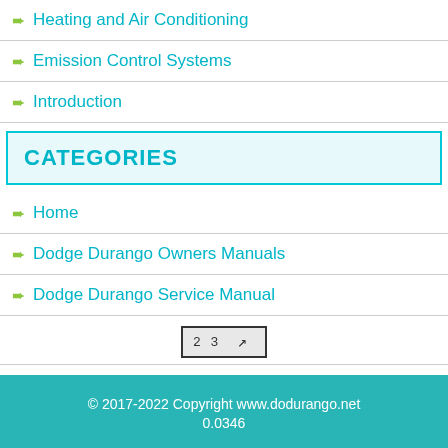➨ Heating and Air Conditioning
➨ Emission Control Systems
➨ Introduction
CATEGORIES
➨ Home
➨ Dodge Durango Owners Manuals
➨ Dodge Durango Service Manual
[Figure (screenshot): Pagination button showing '23' with an arrow icon]
© 2017-2022 Copyright www.dodurango.net
0.0346